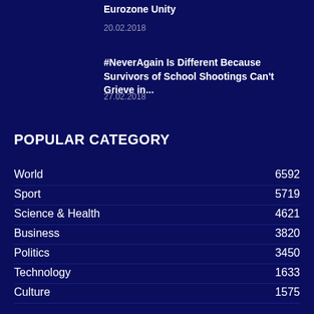Eurozone Unity
20.02.2018
#NeverAgain Is Different Because Survivors of School Shootings Can't Grieve in...
27.02.2018
POPULAR CATEGORY
World 6592
Sport 5719
Science & Health 4621
Business 3820
Politics 3450
Technology 1633
Culture 1575